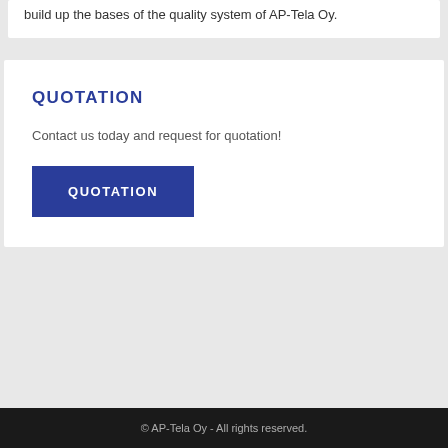build up the bases of the quality system of AP-Tela Oy.
QUOTATION
Contact us today and request for quotation!
[Figure (other): Blue button labeled QUOTATION]
© AP-Tela Oy - All rights reserved.